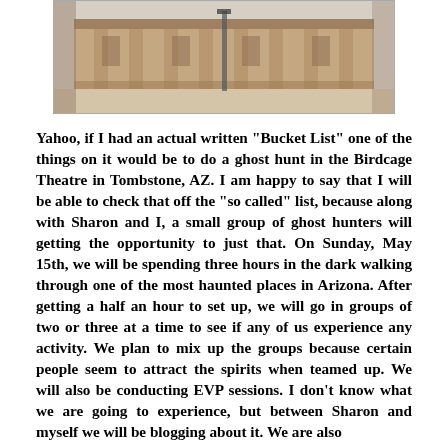[Figure (photo): Photograph of a building exterior, appears to be a historic adobe or brick structure with columns and a courtyard, taken from the front.]
Yahoo, if I had an actual written "Bucket List" one of the things on it would be to do a ghost hunt in the Birdcage Theatre in Tombstone, AZ.  I am happy to say that I will be able to check that off the "so called" list, because along with Sharon and I, a small group of ghost hunters will getting the opportunity to just that.  On Sunday, May 15th, we will be spending three hours in the dark walking through one of the most haunted places in Arizona.  After getting a half an hour to set up, we will go in groups of two or three at a time to see if any of us experience any activity.  We plan to mix up the groups because certain people seem to attract the spirits when teamed up.  We will also be conducting EVP sessions.  I don't know what we are going to experience, but between Sharon and myself we will be blogging about it.  We are also